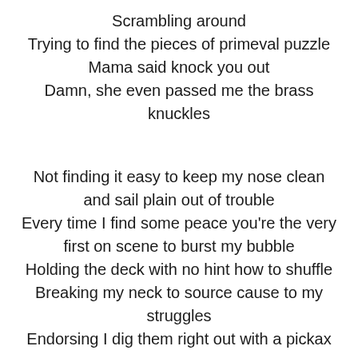Scrambling around
Trying to find the pieces of primeval puzzle
Mama said knock you out
Damn, she even passed me the brass knuckles
Not finding it easy to keep my nose clean and sail plain out of trouble
Every time I find some peace you're the very first on scene to burst my bubble
Holding the deck with no hint how to shuffle
Breaking my neck to source cause to my struggles
Endorsing I dig them right out with a pickax